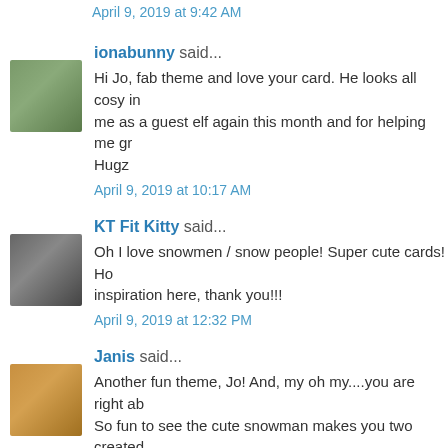April 9, 2019 at 9:42 AM
ionabunny said...
Hi Jo, fab theme and love your card. He looks all cosy in me as a guest elf again this month and for helping me gr Hugz
April 9, 2019 at 10:17 AM
KT Fit Kitty said...
Oh I love snowmen / snow people! Super cute cards! Ho inspiration here, thank you!!!
April 9, 2019 at 12:32 PM
Janis said...
Another fun theme, Jo! And, my oh my....you are right ab So fun to see the cute snowman makes you two created adorable. Love the sheen on Gail's and the fun googly ey